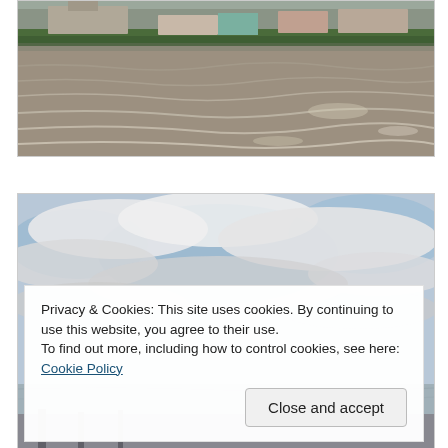[Figure (photo): Photograph of a wide river (Danube) with choppy brown water in the foreground and a hillside city with buildings and trees in the background under an overcast sky.]
[Figure (photo): Photograph showing a wide cloudy sky with blue patches over a river or waterway, partially obscured by a cookie consent banner overlay.]
Privacy & Cookies: This site uses cookies. By continuing to use this website, you agree to their use.
To find out more, including how to control cookies, see here: Cookie Policy
Close and accept